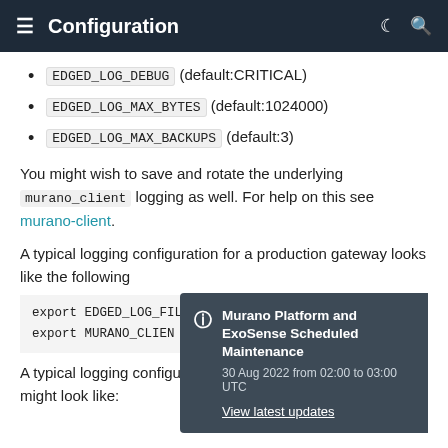Configuration
EDGED_LOG_DEBUG (default:CRITICAL)
EDGED_LOG_MAX_BYTES (default:1024000)
EDGED_LOG_MAX_BACKUPS (default:3)
You might wish to save and rotate the underlying murano_client logging as well. For help on this see murano-client.
A typical logging configuration for a production gateway looks like the following
export EDGED_LOG_FIL
export MURANO_CLIEN
[Figure (other): Notification popup: Murano Platform and ExoSense Scheduled Maintenance. 30 Aug 2022 from 02:00 to 03:00 UTC. View latest updates.]
A typical logging configuration for a development gateway might look like: